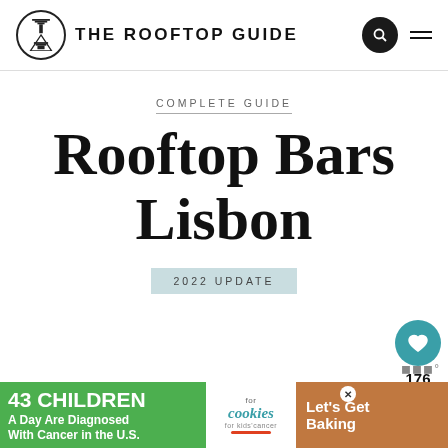THE ROOFTOP GUIDE
COMPLETE GUIDE
Rooftop Bars Lisbon
2022 UPDATE
176
[Figure (infographic): Advertisement banner: '43 CHILDREN A Day Are Diagnosed With Cancer in the U.S.' with cookies for kids' cancer logo and 'Let's Get Baking' text]